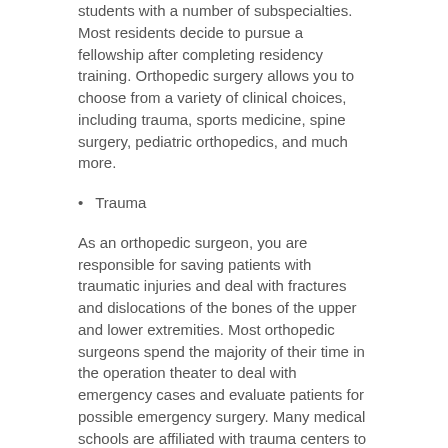students with a number of subspecialties. Most residents decide to pursue a fellowship after completing residency training. Orthopedic surgery allows you to choose from a variety of clinical choices, including trauma, sports medicine, spine surgery, pediatric orthopedics, and much more.
Trauma
As an orthopedic surgeon, you are responsible for saving patients with traumatic injuries and deal with fractures and dislocations of the bones of the upper and lower extremities. Most orthopedic surgeons spend the majority of their time in the operation theater to deal with emergency cases and evaluate patients for possible emergency surgery. Many medical schools are affiliated with trauma centers to provide students with hands-on training to manage intra-